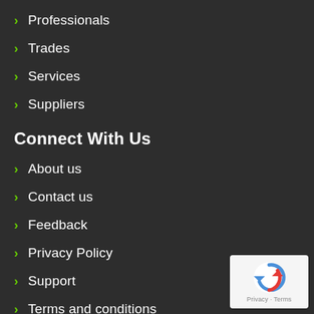Professionals
Trades
Services
Suppliers
Connect With Us
About us
Contact us
Feedback
Privacy Policy
Support
Terms and conditions
[Figure (logo): reCAPTCHA badge with Privacy and Terms links]